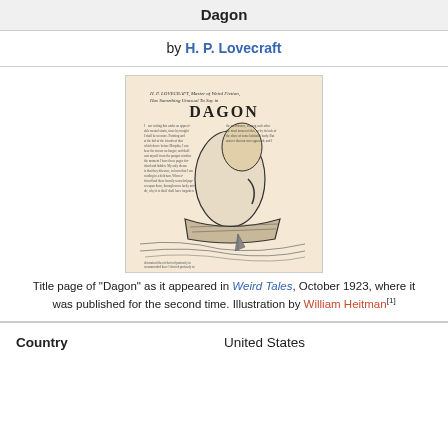Dagon
by H. P. Lovecraft
[Figure (illustration): Title page of 'Dagon' as it appeared in Weird Tales magazine, showing a figure in a boat with text columns. Illustration by William Heitman.]
Title page of "Dagon" as it appeared in Weird Tales, October 1923, where it was published for the second time. Illustration by William Heitman[1]
| Country | United States |
| --- | --- |